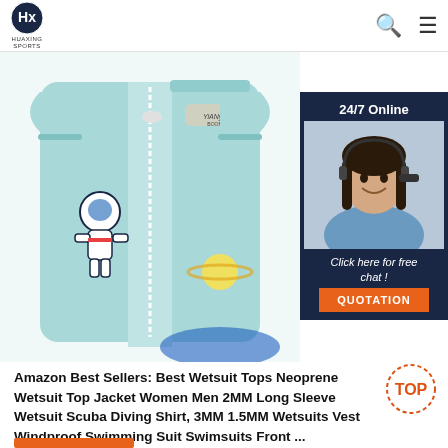HUAXING SPORTS
[Figure (photo): Light blue children's swim vest/wetsuit with astronaut and space theme print, white zipper in center. Brand label reads 'YiANyA BOOM'. Overlaid with a customer service chat widget showing a female agent with headset, dark navy background, text '24/7 Online', 'Click here for free chat!', and an orange 'QUOTATION' button.]
Amazon Best Sellers: Best Wetsuit Tops Neoprene Wetsuit Top Jacket Women Men 2MM Long Sleeve Wetsuit Scuba Diving Shirt, 3MM 1.5MM Wetsuits Vest Windproof Swimming Suit Swimsuits Front ...